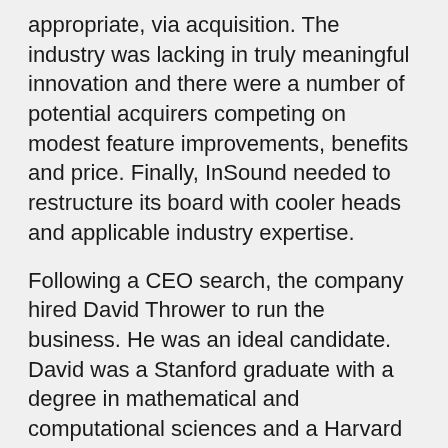appropriate, via acquisition. The industry was lacking in truly meaningful innovation and there were a number of potential acquirers competing on modest feature improvements, benefits and price. Finally, InSound needed to restructure its board with cooler heads and applicable industry expertise.
Following a CEO search, the company hired David Thrower to run the business. He was an ideal candidate. David was a Stanford graduate with a degree in mathematical and computational sciences and a Harvard MBA. He had experience in the hearing aid industry as VP of Global Marketing at GN Resound, and had also served as VP of Marketing for Align Technology, the developer of Invisalign invisible braces.
David checked all the boxes. He had experience marketing hybrid medical/consumer devices directly to the consumer. He knew how to overcome the resistance of the clinical customer to adopt new, disruptive technologies. And, he understood the hearing market and its key players. David's